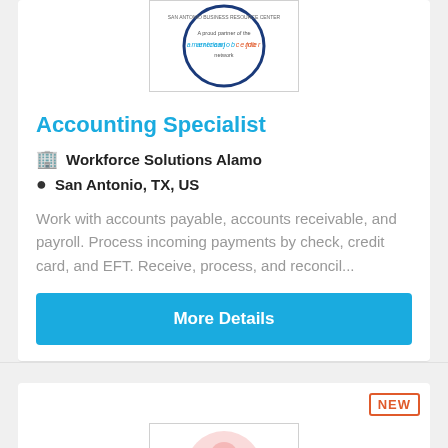[Figure (logo): American Job Center network logo inside a circle with blue border]
Accounting Specialist
🏢 Workforce Solutions Alamo
📍 San Antonio, TX, US
Work with accounts payable, accounts receivable, and payroll. Process incoming payments by check, credit card, and EFT. Receive, process, and reconcil...
More Details
[Figure (illustration): Pink user/person avatar icon placeholder circle with a smaller circle inside, pink tones on white background]
NEW